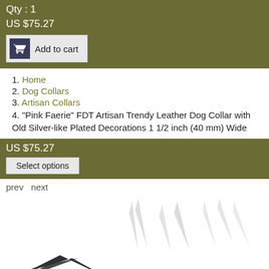Qty : 1
US $75.27
[Figure (screenshot): Add to cart button with shopping cart icon]
1. Home
2. Dog Collars
3. Artisan Collars
4. "Pink Faerie" FDT Artisan Trendy Leather Dog Collar with Old Silver-like Plated Decorations 1 1/2 inch (40 mm) Wide
US $75.27
[Figure (screenshot): Select options button]
prev  next
[Figure (photo): Decorative spiky/feathery design elements visible at bottom of page]